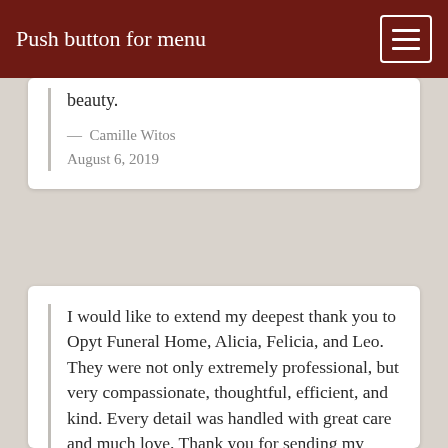Push button for menu
beauty.
— Camille Witos
August 6, 2019
I would like to extend my deepest thank you to Opyt Funeral Home, Alicia, Felicia, and Leo. They were not only extremely professional, but very compassionate, thoughtful, efficient, and kind. Every detail was handled with great care and much love. Thank you for sending my Mother, Victoria Witos, to her next life with such beauty.